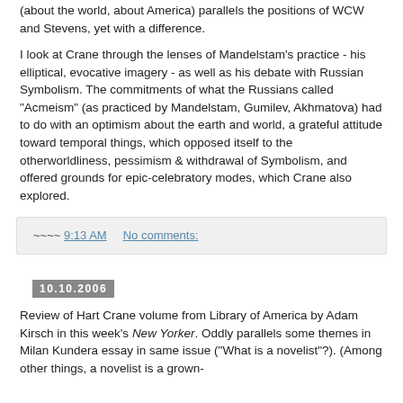(about the world, about America) parallels the positions of WCW and Stevens, yet with a difference.
I look at Crane through the lenses of Mandelstam's practice - his elliptical, evocative imagery - as well as his debate with Russian Symbolism. The commitments of what the Russians called "Acmeism" (as practiced by Mandelstam, Gumilev, Akhmatova) had to do with an optimism about the earth and world, a grateful attitude toward temporal things, which opposed itself to the otherworldliness, pessimism & withdrawal of Symbolism, and offered grounds for epic-celebratory modes, which Crane also explored.
~~~~ 9:13 AM    No comments:
10.10.2006
Review of Hart Crane volume from Library of America by Adam Kirsch in this week's New Yorker. Oddly parallels some themes in Milan Kundera essay in same issue ("What is a novelist"?). (Among other things, a novelist is a grown-